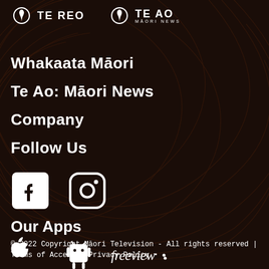[Figure (logo): Te Reo and Te Ao Māori News logos in white on dark brown background with decorative spiral lines]
Whakaata Māori
Te Ao: Māori News
Company
Follow Us
[Figure (logo): Facebook and Instagram social media icons in white]
Our Apps
[Figure (logo): Apple App Store, Android/Google Play, and Freeview app icons in white]
© 2022 Copyright Māori Television - All rights reserved | Terms of Access | Privacy Policy